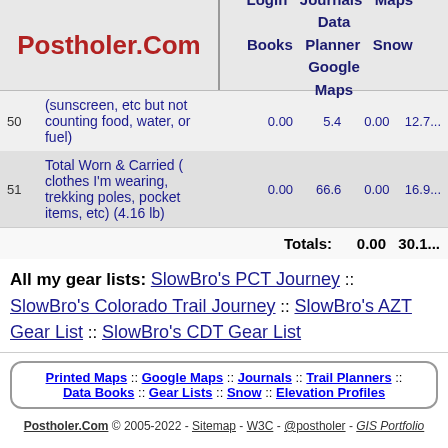Postholer.Com | Login  Journals  Maps  Data Books  Planner  Snow  Google Maps
| # | Description |  | oz | g | lb |
| --- | --- | --- | --- | --- | --- |
| 50 | (sunscreen, etc but not counting food, water, or fuel) |  | 0.00 | 5.4 | 0.00 | 12.7... |
| 51 | Total Worn & Carried ( clothes I'm wearing, trekking poles, pocket items, etc) (4.16 lb) |  | 0.00 | 66.6 | 0.00 | 16.9... |
Totals: 0.00  30.1...
All my gear lists: SlowBro's PCT Journey :: SlowBro's Colorado Trail Journey :: SlowBro's AZT Gear List :: SlowBro's CDT Gear List
Printed Maps :: Google Maps :: Journals :: Trail Planners :: Data Books :: Gear Lists :: Snow :: Elevation Profiles
Postholer.Com © 2005-2022 - Sitemap - W3C - @postholer - GIS Portfolio